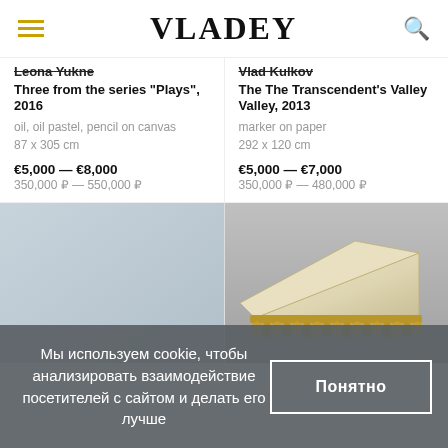VLADEY
Leona Yukne
Three from the series "Plays", 2016
oil, oil pastel, pencil on canvas
87 x 305 cm
€5,000 — €8,000
350,000 ₽ — 550,000 ₽
Vlad Kulkov
The The Transcendent's Valley Valley, 2013
marker on paper
292 x 120 cm
€5,000 — €7,000
350,000 ₽ — 480,000 ₽
[Figure (photo): Light gray-blue canvas artwork (plain)]
[Figure (photo): Sculptural object resembling a triangular cream/ivory cushion with gold/bronze fringe along the base]
Мы используем cookie, чтобы анализировать взаимодействие посетителей с сайтом и делать его лучше